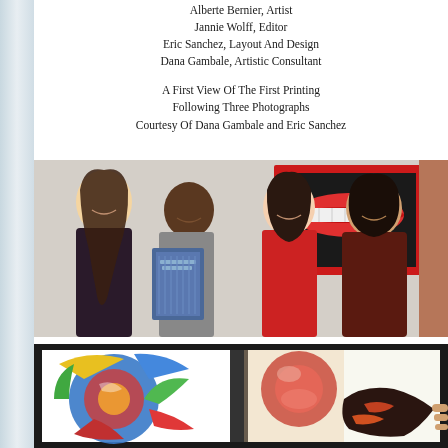Alberte Bernier, Artist
Jannie Wolff, Editor
Eric Sanchez, Layout And Design
Dana Gambale, Artistic Consultant
A First View Of The First Printing
Following Three Photographs
Courtesy Of Dana Gambale and Eric Sanche…
[Figure (photo): Four people posing together holding a book, standing in front of artwork including a painting of red lips in a red frame]
[Figure (photo): An open art book showing colorful abstract paintings with circular and curved shapes in blue, red, yellow, and green]